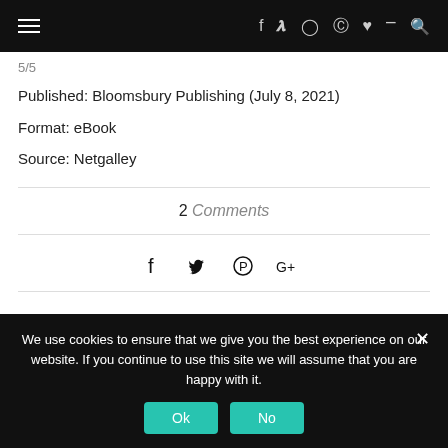Navigation bar with hamburger menu and social icons (f, twitter, instagram, pinterest, heart, rss, search)
5/5
Published: Bloomsbury Publishing (July 8, 2021)
Format: eBook
Source: Netgalley
2 Comments
[Figure (other): Social share icons: Facebook, Twitter, Pinterest, Google+]
We use cookies to ensure that we give you the best experience on our website. If you continue to use this site we will assume that you are happy with it.